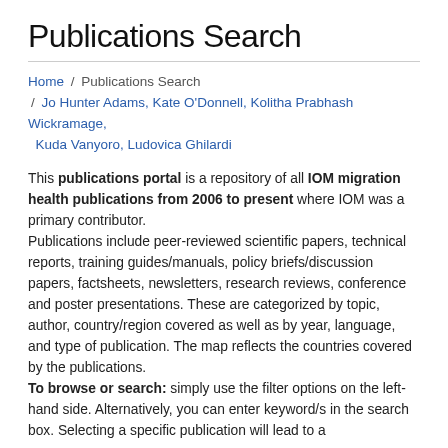Publications Search
Home / Publications Search / Jo Hunter Adams, Kate O'Donnell, Kolitha Prabhash Wickramage, Kuda Vanyoro, Ludovica Ghilardi
This publications portal is a repository of all IOM migration health publications from 2006 to present where IOM was a primary contributor.
Publications include peer-reviewed scientific papers, technical reports, training guides/manuals, policy briefs/discussion papers, factsheets, newsletters, research reviews, conference and poster presentations. These are categorized by topic, author, country/region covered as well as by year, language, and type of publication. The map reflects the countries covered by the publications.
To browse or search: simply use the filter options on the left-hand side. Alternatively, you can enter keyword/s in the search box. Selecting a specific publication will lead to a